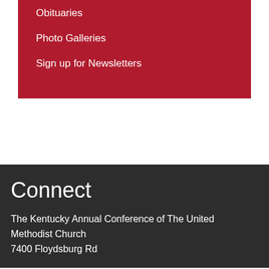Obituaries
Photo Galleries
Sign up for Newsletters
Connect
The Kentucky Annual Conference of The United Methodist Church
7400 Floydsburg Rd